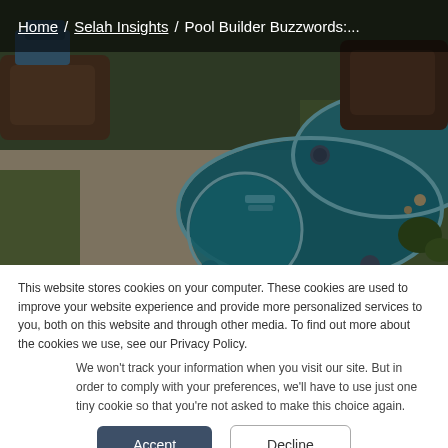Home / Selah Insights / Pool Builder Buzzwords:...
[Figure (photo): Aerial view of a kidney-shaped swimming pool with blue water, surrounded by landscaping, outdoor furniture, and patio stone. Dark overlay at top.]
This website stores cookies on your computer. These cookies are used to improve your website experience and provide more personalized services to you, both on this website and through other media. To find out more about the cookies we use, see our Privacy Policy.
We won't track your information when you visit our site. But in order to comply with your preferences, we'll have to use just one tiny cookie so that you're not asked to make this choice again.
Accept  Decline